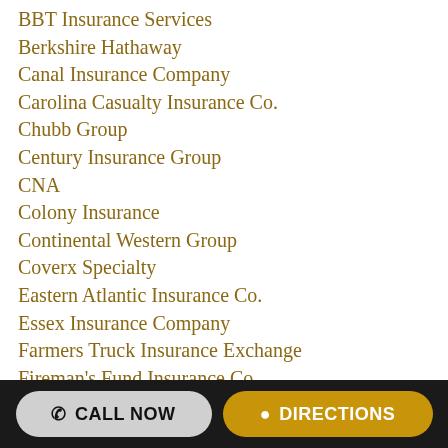BBT Insurance Services
Berkshire Hathaway
Canal Insurance Company
Carolina Casualty Insurance Co.
Chubb Group
Century Insurance Group
CNA
Colony Insurance
Continental Western Group
Coverx Specialty
Eastern Atlantic Insurance Co.
Essex Insurance Company
Farmers Truck Insurance Exchange
Fireman's Fund Insurance Co.
Gateway Insurance Co.
Grange Insurance
Great American Insurance Group
Great West Casualty Co.
Hallmark Insurance Co.
CALL NOW   DIRECTIONS